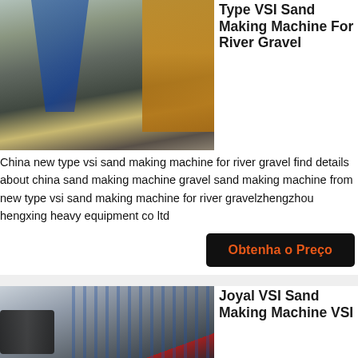[Figure (photo): Outdoor view of a sand-making plant with conveyor belts, yellow crusher machinery, and workers in hard hats standing among gravel piles.]
Type VSI Sand Making Machine For River Gravel
China new type vsi sand making machine for river gravel find details about china sand making machine gravel sand making machine from new type vsi sand making machine for river gravelzhengzhou hengxing heavy equipment co ltd
Obtenha o Preço
[Figure (photo): Indoor factory floor showing heavy industrial machinery parts including large metal cylinders, blue steel frames, red components, and cables on a workshop floor.]
Joyal VSI Sand Making Machine VSI